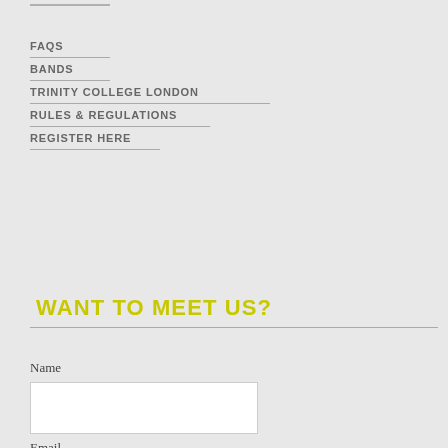FAQS
BANDS
TRINITY COLLEGE LONDON
RULES & REGULATIONS
REGISTER HERE
WANT TO MEET US?
Name
Email